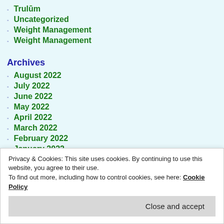Trulūm
Uncategorized
Weight Management
Weight Management
Archives
August 2022
July 2022
June 2022
May 2022
April 2022
March 2022
February 2022
January 2022
December 2021
November 2021
April 2021
March 2021
Privacy & Cookies: This site uses cookies. By continuing to use this website, you agree to their use. To find out more, including how to control cookies, see here: Cookie Policy
Close and accept